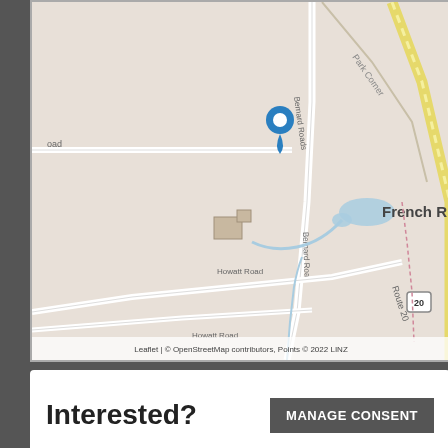[Figure (map): OpenStreetMap showing French River area with Bernard Road, Howatt Road, Park Corner, Route 20, and a blue location pin marker. Attribution: Leaflet | © OpenStreetMap contributors, Points © 2022 LINZ]
Interested?
MANAGE CONSENT